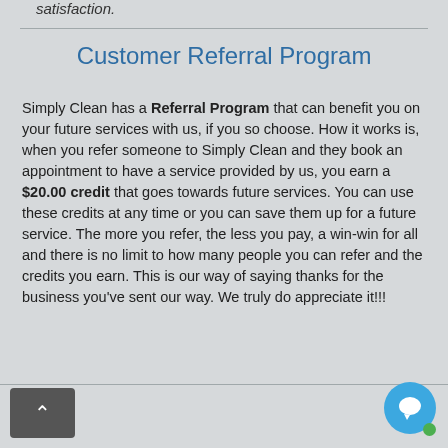satisfaction.
Customer Referral Program
Simply Clean has a Referral Program that can benefit you on your future services with us, if you so choose. How it works is, when you refer someone to Simply Clean and they book an appointment to have a service provided by us, you earn a $20.00 credit that goes towards future services. You can use these credits at any time or you can save them up for a future service. The more you refer, the less you pay, a win-win for all and there is no limit to how many people you can refer and the credits you earn. This is our way of saying thanks for the business you've sent our way. We truly do appreciate it!!!